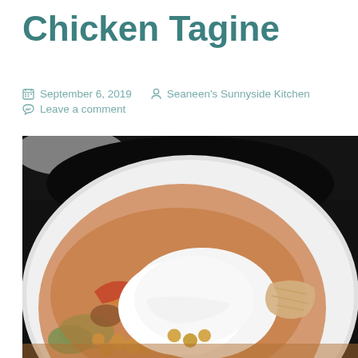Chicken Tagine
📅 September 6, 2019   👤 Seaneen's Sunnyside Kitchen
💬 Leave a comment
[Figure (photo): A white bowl plate filled with chicken tagine: colorful vegetables including red peppers, zucchini, chickpeas, and orange squash, topped with a generous dollop of white cream/yogurt sauce, with shredded chicken visible on the right, all on a dark background.]